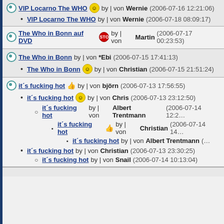VIP Locarno The WHO by | von Wernie (2006-07-16 12:21:06)
VIP Locarno The WHO by | von Wernie (2006-07-18 08:09:17)
The Who in Bonn auf DVD by | von Martin (2006-07-17 00:23:53)
The Who in Bonn by | von *Ebi (2006-07-15 17:41:13)
The Who in Bonn by | von Christian (2006-07-15 21:51:24)
it´s fucking hot by | von björn (2006-07-13 17:56:55)
it´s fucking hot by | von Chris (2006-07-13 23:12:50)
it´s fucking hot by | von Albert Trentmann (2006-07-14 12:2...)
it´s fucking hot by | von Christian (2006-07-14 14:...)
it´s fucking hot by | von Albert Trentmann (...)
it´s fucking hot by | von Christian (2006-07-13 23:30:25)
it´s fucking hot by | von Snail (2006-07-14 10:13:04)